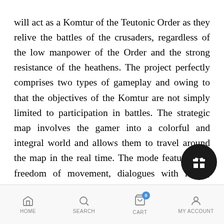will act as a Komtur of the Teutonic Order as they relive the battles of the crusaders, regardless of the low manpower of the Order and the strong resistance of the heathens. The project perfectly comprises two types of gameplay and owing to that the objectives of the Komtur are not simply limited to participation in battles. The strategic map involves the gamer into a colorful and integral world and allows them to travel around the map in the real time. The mode features full freedom of movement, dialogues with locals, RPG elements, quest system and much more. However, sooner or later, the players will have no other choice other than engage their faithful warriors into a battle. And this could be a combat with other armies... scale sieges of towns and castles, using v...
[Figure (other): Dark circular gift/reward button overlay in bottom-right area of the content]
HOME   SEARCH   CART 0   MY ACCOUNT